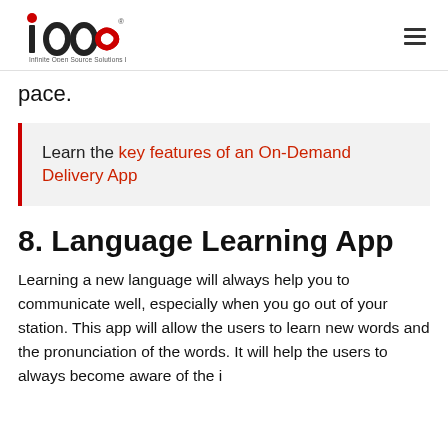Infinite Open Source Solutions LLP logo and navigation
pace.
Learn the key features of an On-Demand Delivery App
8. Language Learning App
Learning a new language will always help you to communicate well, especially when you go out of your station. This app will allow the users to learn new words and the pronunciation of the words. It will help the users to always become aware of the i...